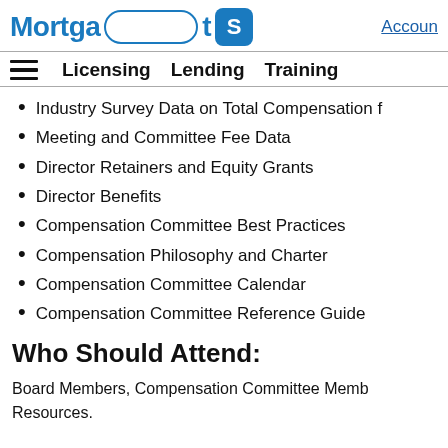Mortgage Bankers Association — Accoun
Licensing  Lending  Training
Industry Survey Data on Total Compensation
Meeting and Committee Fee Data
Director Retainers and Equity Grants
Director Benefits
Compensation Committee Best Practices
Compensation Philosophy and Charter
Compensation Committee Calendar
Compensation Committee Reference Guide
Who Should Attend:
Board Members, Compensation Committee Members, Human Resources.